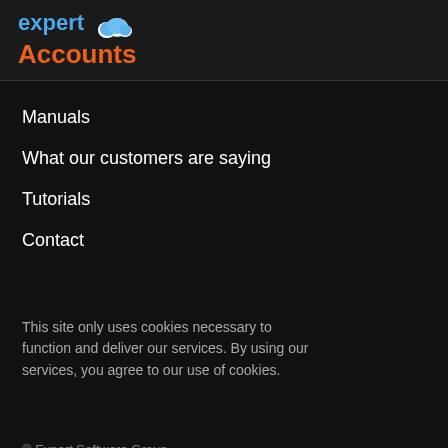[Figure (logo): Expert Accounts logo with cloud icon — 'expert' in blue, cloud icon in blue/white, 'Accounts' in orange]
Manuals
What our customers are saying
Tutorials
Contact
This site only uses cookies necessary to function and deliver our services. By using our services, you agree to our use of cookies.
© Expert Software Group